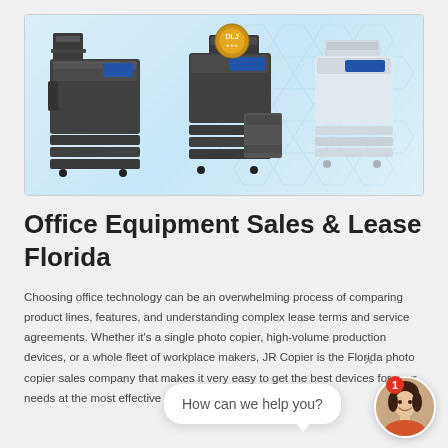[Figure (photo): Banner image showing three office copier/printer machines against a light blue hexagonal pattern background. Left: large dark gray multifunction copier with finisher. Center: dark gray multifunction copier. Right: white multifunction printer. A gold DLJ award badge is visible near the center-top.]
Office Equipment Sales & Lease Florida
Choosing office technology can be an overwhelming process of comparing product lines, features, and understanding complex lease terms and service agreements. Whether it's a single photo copier, high-volume production devices, or a whole fleet of workplace makers, JR Copier is the Florida photo copier sales company that makes it very easy to get the best devices for your needs at the most effective rate.
How can we help you?